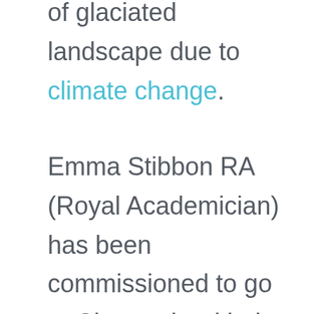of glaciated landscape due to climate change.
Emma Stibbon RA (Royal Academician) has been commissioned to go to Chamonix with the objective of creating a contemporary response to the worries raised by John Ruskin and capture the glaciers around Mont Blanc in her drawings and